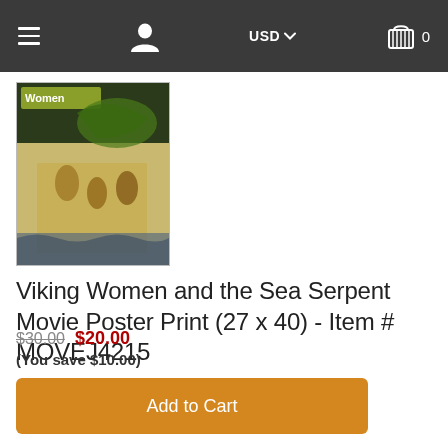≡  [user icon]  USD ▾  [cart icon] 0
[Figure (photo): Thumbnail of Viking Women and the Sea Serpent movie poster showing title 'Women' with fantasy artwork]
Viking Women and the Sea Serpent Movie Poster Print (27 x 40) - Item # MOVEJ4215
$30.00  $20.00
(You save $10.00)
Add to Cart
Add a Frame or Canvas!